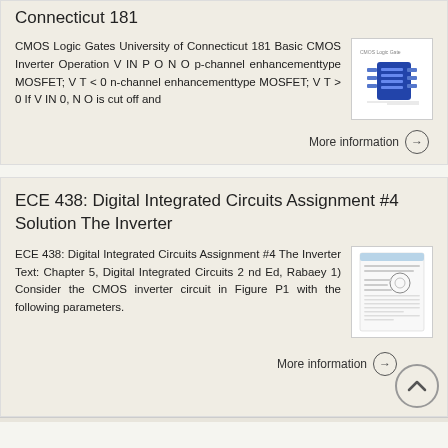Connecticut 181
CMOS Logic Gates University of Connecticut 181 Basic CMOS Inverter Operation V IN P O N O p-channel enhancementtype MOSFET; V T < 0 n-channel enhancementtype MOSFET; V T > 0 If V IN 0, N O is cut off and
More information →
ECE 438: Digital Integrated Circuits Assignment #4 Solution The Inverter
ECE 438: Digital Integrated Circuits Assignment #4 The Inverter Text: Chapter 5, Digital Integrated Circuits 2 nd Ed, Rabaey 1) Consider the CMOS inverter circuit in Figure P1 with the following parameters.
More information →